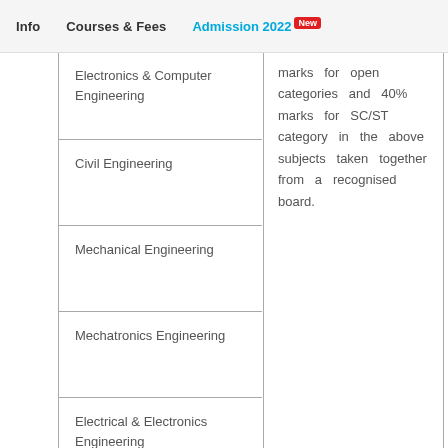Info   Courses & Fees   Admission 2022 New
|  | Course | Eligibility |
| --- | --- | --- |
|  | Electronics & Computer Engineering | marks for open categories and 40% marks for SC/ST category in the above subjects taken together from a recognised board. |
|  | Civil Engineering |  |
|  | Mechanical Engineering |  |
|  | Mechatronics Engineering |  |
|  | Electrical & Electronics Engineering |  |